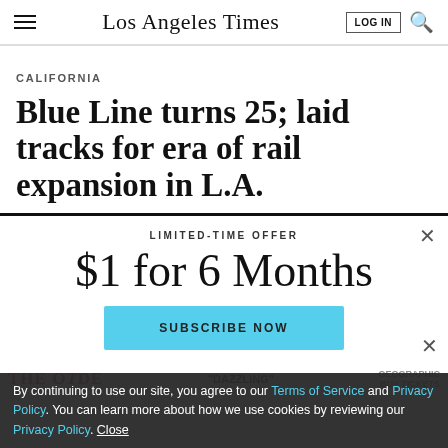Los Angeles Times
CALIFORNIA
Blue Line turns 25; laid tracks for era of rail expansion in L.A.
LIMITED-TIME OFFER
$1 for 6 Months
SUBSCRIBE NOW
By continuing to use our site, you agree to our Terms of Service and Privacy Policy. You can learn more about how we use cookies by reviewing our Privacy Policy. Close